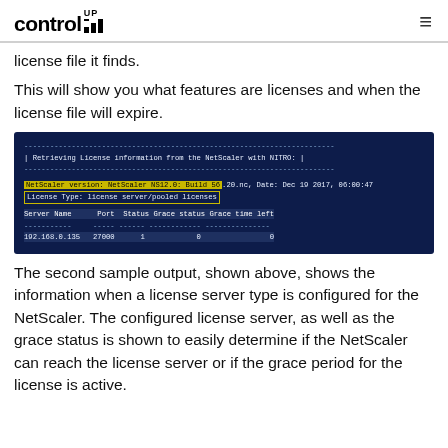ControlUp logo and navigation
license file it finds.
This will show you what features are licenses and when the license file will expire.
[Figure (screenshot): Terminal/console screenshot showing NetScaler license information retrieved via NITRO API. Shows NetScaler NS12.0 Build 56.20.nc, Date Dec 19 2017, License Type: license server/pooled licenses, and a table with Server Name 192.168.0.135, Port 27000, Status 1, Grace status 0, Grace time left 0.]
The second sample output, shown above, shows the information when a license server type is configured for the NetScaler. The configured license server, as well as the grace status is shown to easily determine if the NetScaler can reach the license server or if the grace period for the license is active.